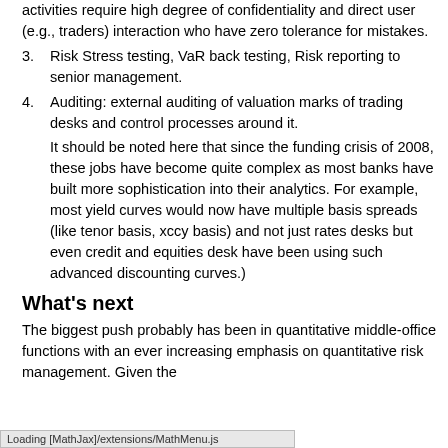activities require high degree of confidentiality and direct user (e.g., traders) interaction who have zero tolerance for mistakes.
3. Risk Stress testing, VaR back testing, Risk reporting to senior management.
4. Auditing: external auditing of valuation marks of trading desks and control processes around it. It should be noted here that since the funding crisis of 2008, these jobs have become quite complex as most banks have built more sophistication into their analytics. For example, most yield curves would now have multiple basis spreads (like tenor basis, xccy basis) and not just rates desks but even credit and equities desk have been using such advanced discounting curves.)
What's next
The biggest push probably has been in quantitative middle-office functions with an ever increasing emphasis on quantitative risk management. Given the